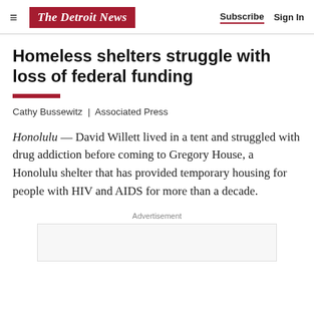The Detroit News | Subscribe | Sign In
Homeless shelters struggle with loss of federal funding
Cathy Bussewitz  |  Associated Press
Honolulu — David Willett lived in a tent and struggled with drug addiction before coming to Gregory House, a Honolulu shelter that has provided temporary housing for people with HIV and AIDS for more than a decade.
Advertisement